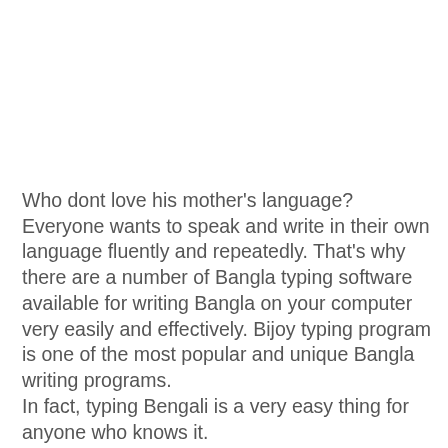Who dont love his mother's language? Everyone wants to speak and write in their own language fluently and repeatedly. That's why there are a number of Bangla typing software available for writing Bangla on your computer very easily and effectively. Bijoy typing program is one of the most popular and unique Bangla writing programs.
In fact, typing Bengali is a very easy thing for anyone who knows it.
Writing Bangla is easier with Bijoy. But it requires a beautiful and more practice. Bijoy is a Bangla writing unique software. Avro is another Bengali writing